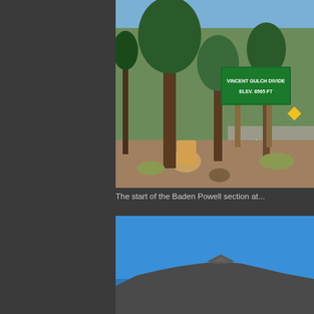[Figure (photo): Outdoor photograph of a green road sign reading 'VINCENT GULCH DIVIDE ELEV. 6565 FT' mounted on wooden posts, surrounded by pine trees, rocky dirt ground, and a road visible in the background. Bright sunny day.]
The start of the Baden Powell section at...
[Figure (photo): Outdoor photograph showing a clear blue sky with a mountain peak visible at the bottom of the frame, rocky terrain visible.]